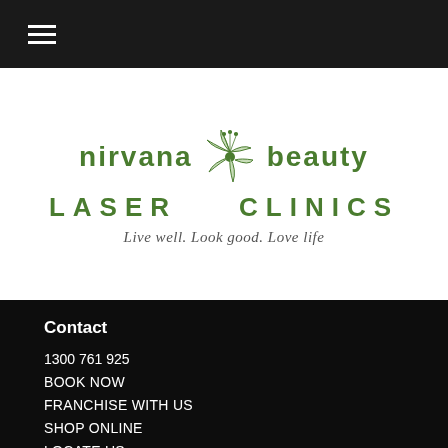≡ (hamburger menu)
[Figure (logo): Nirvana Beauty Laser Clinics logo — green text with a hibiscus flower illustration in the center, tagline: Live well. Look good. Love life]
Contact
1300 761 925
BOOK NOW
FRANCHISE WITH US
SHOP ONLINE
LOCATE US
CURRENT PROMOTIONS